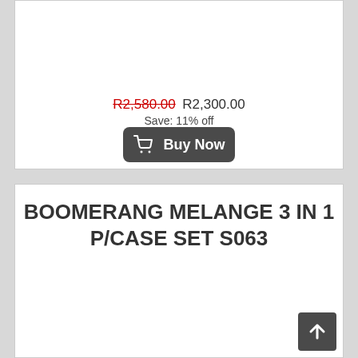R2,580.00  R2,300.00
Save: 11% off
[Figure (other): Buy Now button with shopping cart icon]
BOOMERANG MELANGE 3 IN 1 P/CASE SET S063
[Figure (other): Back to top arrow button]